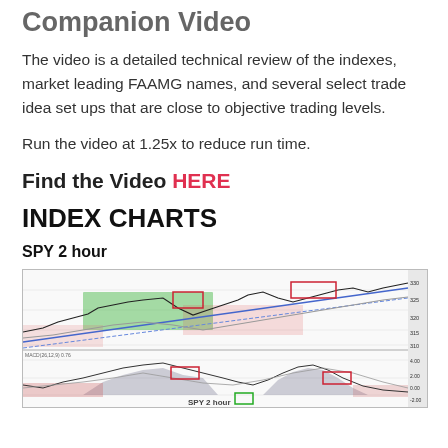Companion Video
The video is a detailed technical review of the indexes, market leading FAAMG names, and several select trade idea set ups that are close to objective trading levels.
Run the video at 1.25x to reduce run time.
Find the Video HERE
INDEX CHARTS
SPY 2 hour
[Figure (continuous-plot): SPY 2-hour technical chart showing price action with green highlighted consolidation zone, red rectangles marking key levels, blue diagonal moving average lines trending up, and a lower indicator panel showing oscillator/volume with shaded areas in gray and red. Label at bottom reads 'SPY 2 hour'.]